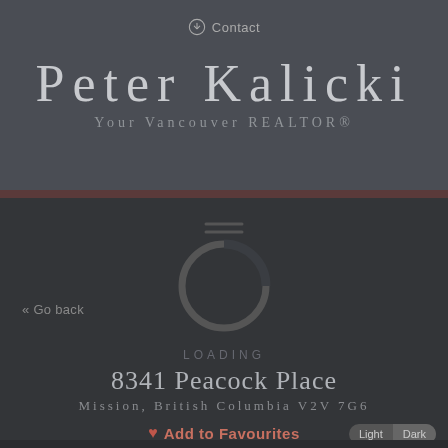Contact
Peter Kalicki
Your Vancouver REALTOR®
[Figure (infographic): Circular loading spinner icon in gray on dark background]
« Go back
LOADING
8341 Peacock Place
Mission, British Columbia V2V 7G6
♥ Add to Favourites
Light  Dark
[Figure (infographic): Social media icons row: Facebook, Twitter, Pinterest, LinkedIn]